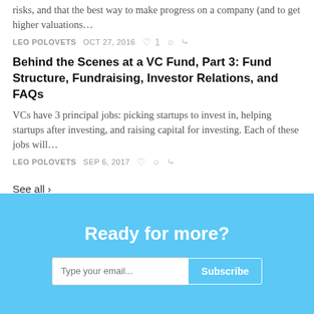risks, and that the best way to make progress on a company (and to get higher valuations…
LEO POLOVETS   OCT 27, 2016   ♡ 1   ○   ↪
Behind the Scenes at a VC Fund, Part 3: Fund Structure, Fundraising, Investor Relations, and FAQs
VCs have 3 principal jobs: picking startups to invest in, helping startups after investing, and raising capital for investing. Each of these jobs will…
LEO POLOVETS   SEP 6, 2017   ♡   ○   ↪
See all ›
Ready for more?
Type your email...   Subscribe